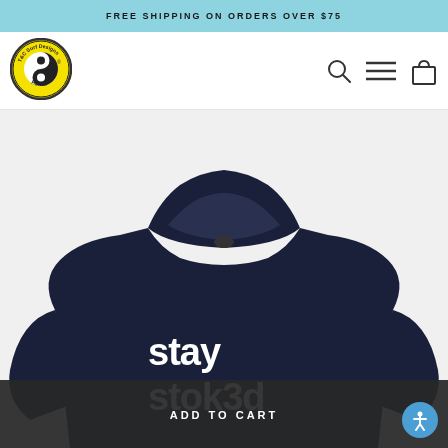FREE SHIPPING ON ORDERS OVER $75
[Figure (logo): T&C Surf Designs Hawaii circular logo with yin-yang symbol on yellow background]
[Figure (photo): Navy blue hoodie with 'stay stoked' text on front, product photo on white/light background]
ADD TO CART